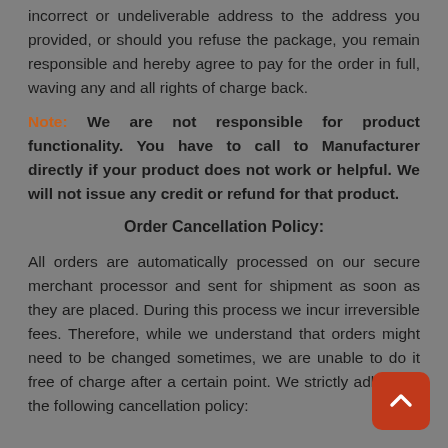incorrect or undeliverable address to the address you provided, or should you refuse the package, you remain responsible and hereby agree to pay for the order in full, waving any and all rights of charge back.
Note: We are not responsible for product functionality. You have to call to Manufacturer directly if your product does not work or helpful. We will not issue any credit or refund for that product.
Order Cancellation Policy:
All orders are automatically processed on our secure merchant processor and sent for shipment as soon as they are placed. During this process we incur irreversible fees. Therefore, while we understand that orders might need to be changed sometimes, we are unable to do it free of charge after a certain point. We strictly adhere to the following cancellation policy: